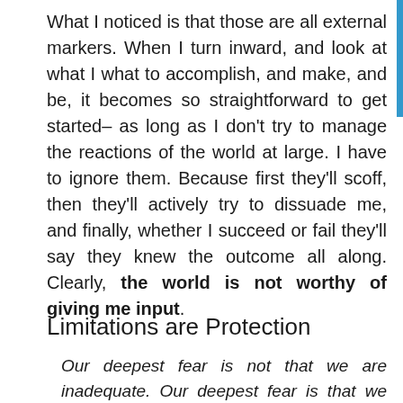What I noticed is that those are all external markers. When I turn inward, and look at what I what to accomplish, and make, and be, it becomes so straightforward to get started– as long as I don't try to manage the reactions of the world at large. I have to ignore them. Because first they'll scoff, then they'll actively try to dissuade me, and finally, whether I succeed or fail they'll say they knew the outcome all along. Clearly, the world is not worthy of giving me input.
Limitations are Protection
Our deepest fear is not that we are inadequate. Our deepest fear is that we are powerful beyond measure. It is our